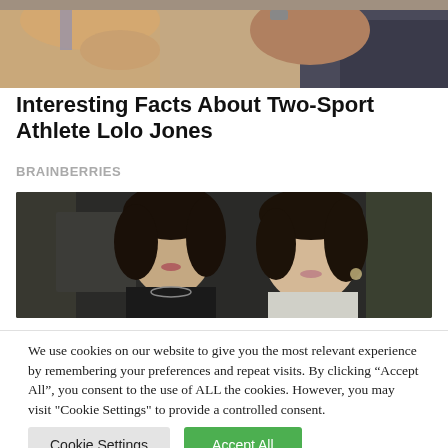[Figure (photo): Partial photo showing two people, cropped at top of page — arms and legs visible, sitting on a couch]
Interesting Facts About Two-Sport Athlete Lolo Jones
BRAINBERRIES
[Figure (photo): Black and white photo of two young women with dark hair looking at the camera]
We use cookies on our website to give you the most relevant experience by remembering your preferences and repeat visits. By clicking “Accept All”, you consent to the use of ALL the cookies. However, you may visit "Cookie Settings" to provide a controlled consent.